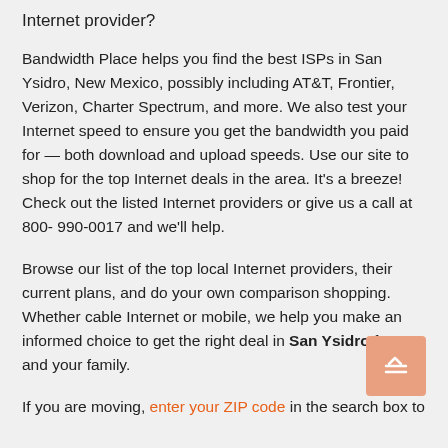Internet provider?
Bandwidth Place helps you find the best ISPs in San Ysidro, New Mexico, possibly including AT&T, Frontier, Verizon, Charter Spectrum, and more. We also test your Internet speed to ensure you get the bandwidth you paid for — both download and upload speeds. Use our site to shop for the top Internet deals in the area. It's a breeze! Check out the listed Internet providers or give us a call at 800-990-0017 and we'll help.
Browse our list of the top local Internet providers, their current plans, and do your own comparison shopping. Whether cable Internet or mobile, we help you make an informed choice to get the right deal in San Ysidro for you and your family.
If you are moving, enter your ZIP code in the search box to